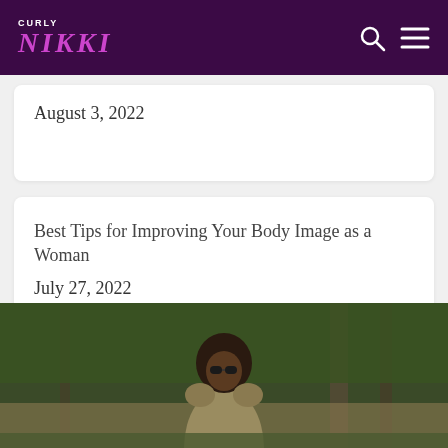CURLY NIKKI
August 3, 2022
Best Tips for Improving Your Body Image as a Woman
July 27, 2022
[Figure (photo): Woman with natural afro hair and sunglasses standing outdoors in a wooded area, wearing a green/olive sleeveless top]